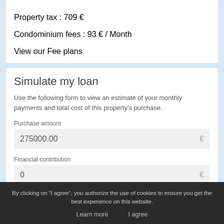Property tax : 709 €
Condominium fees : 93 € / Month
View our Fee plans
Simulate my loan
Use the following form to view an estimate of your monthly payments and total cost of this property's purchase.
Purchase amount
275000.00 €
Financial contribution
0 €
5 years
By clicking on "I agree", you authorize the use of cookies to ensure you get the best experience on this website.
Learn more
I agree